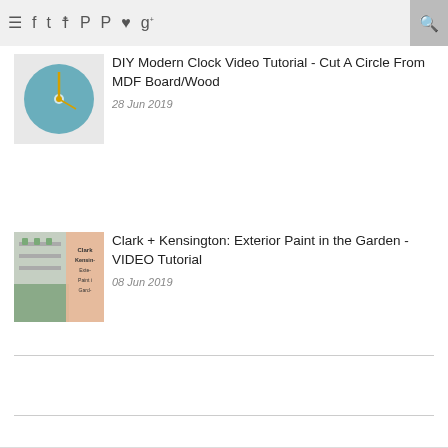Navigation bar with menu, social icons, and search
01 Jan 2020
[Figure (photo): Thumbnail of a teal/blue round DIY modern clock against a white background]
DIY Modern Clock Video Tutorial - Cut A Circle From MDF Board/Wood
28 Jun 2019
[Figure (photo): Thumbnail showing Clark + Kensington Exterior Paint in the Garden]
Clark + Kensington: Exterior Paint in the Garden - VIDEO Tutorial
08 Jun 2019